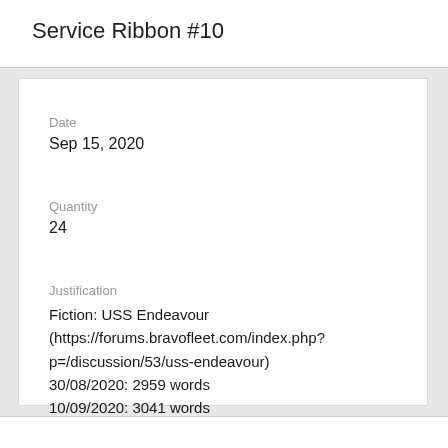Service Ribbon #10
Date
Sep 15, 2020
Quantity
24
Justification
Fiction: USS Endeavour (https://forums.bravofleet.com/index.php?p=/discussion/53/uss-endeavour)
30/08/2020: 2959 words
10/09/2020: 3041 words